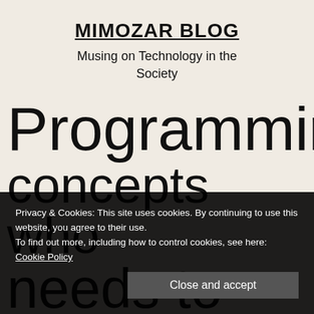MIMOZAR BLOG
Musing on Technology in the Society
Programming concepts who needs to know about
Privacy & Cookies: This site uses cookies. By continuing to use this website, you agree to their use. To find out more, including how to control cookies, see here: Cookie Policy
Close and accept